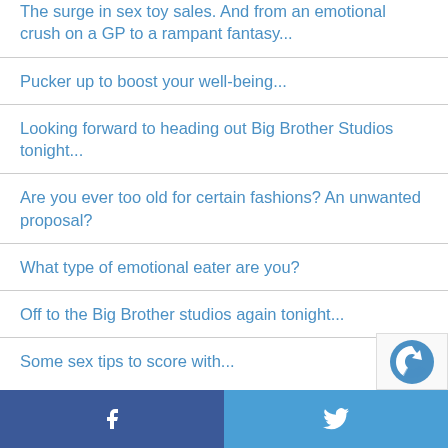The surge in sex toy sales. And from an emotional crush on a GP to a rampant fantasy...
Pucker up to boost your well-being...
Looking forward to heading out Big Brother Studios tonight...
Are you ever too old for certain fashions? An unwanted proposal?
What type of emotional eater are you?
Off to the Big Brother studios again tonight...
Some sex tips to score with...
Facebook | Twitter